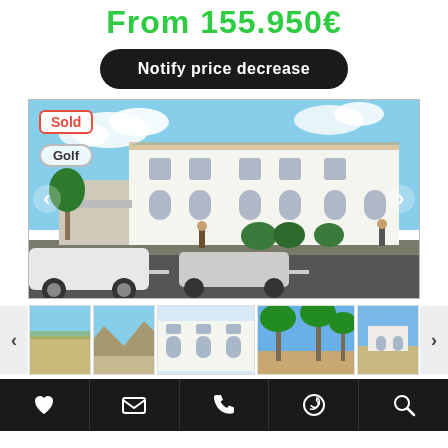From 155.950€
Notify price decrease
[Figure (photo): Exterior rendering of a white Mediterranean-style townhouse complex with cars and pedestrians in foreground. Tags: Sold, Golf.]
[Figure (photo): Thumbnail strip showing 5 property photos including landscape, building facade, and palm trees.]
[Figure (infographic): Bottom navigation bar with icons: heart (favorite), envelope (email), phone, WhatsApp, search.]